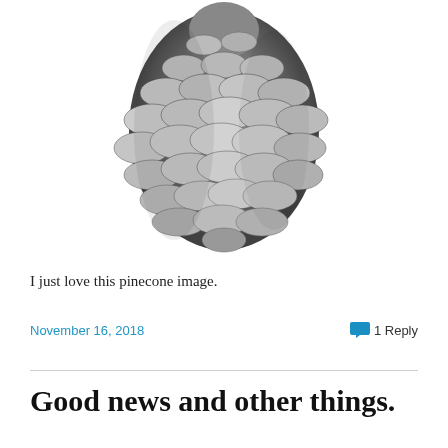[Figure (photo): Black and white photograph of a pinecone, viewed from slightly above, centered on a white background. The pinecone fills most of the upper portion of the image.]
I just love this pinecone image.
November 16, 2018    1 Reply
Good news and other things.